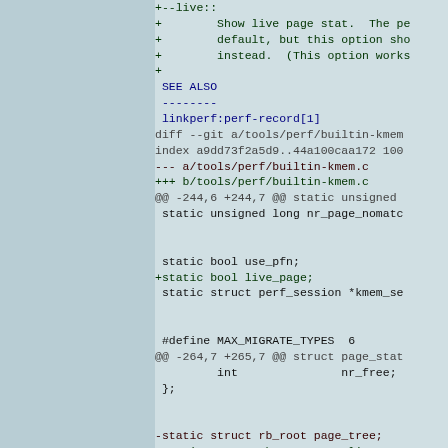diff/patch code showing changes to tools/perf/builtin-kmem.c including SEE ALSO section and multiple hunk headers